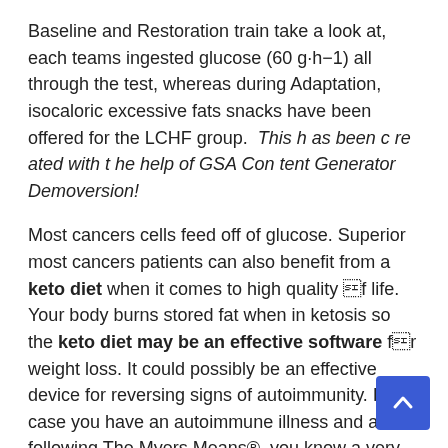Baseline and Restoration train take a look at, each teams ingested glucose (60 g·h−1) all through the test, whereas during Adaptation, isocaloric excessive fats snacks have been offered for the LCHF group. This has been created with the help of GSA Content Generator Demoversion!
Most cancers cells feed off of glucose. Superior most cancers patients can also benefit from a keto diet when it comes to high quality of life. Your body burns stored fat when in ketosis so the keto diet may be an effective software for weight loss. It could possibly be an effective device for reversing signs of autoimmunity. In case you have an autoimmune illness and are following The Myers Means®, you know a very